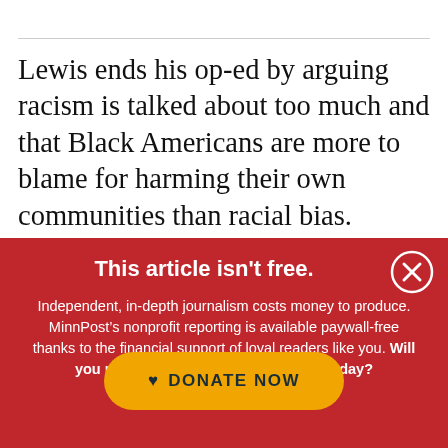Lewis ends his op-ed by arguing racism is talked about too much and that Black Americans are more to blame for harming their own communities than racial bias. “Acknowledging
This article isn't free.
Independent, in-depth journalism costs money to produce. MinnPost’s nonprofit reporting is available paywall-free thanks to the financial support of loyal readers like you. Will you make a tax-deductible donation today?
[Figure (other): Yellow rounded button with heart icon and text DONATE NOW]